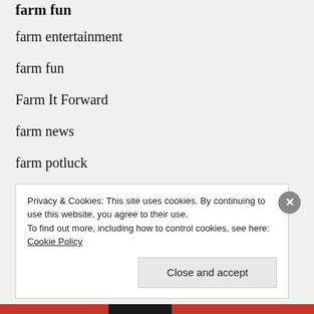farm fun (partial, cropped at top)
farm entertainment
farm fun
Farm It Forward
farm news
farm potluck
farm tasks
farm truck
Privacy & Cookies: This site uses cookies. By continuing to use this website, you agree to their use.
To find out more, including how to control cookies, see here: Cookie Policy
Close and accept